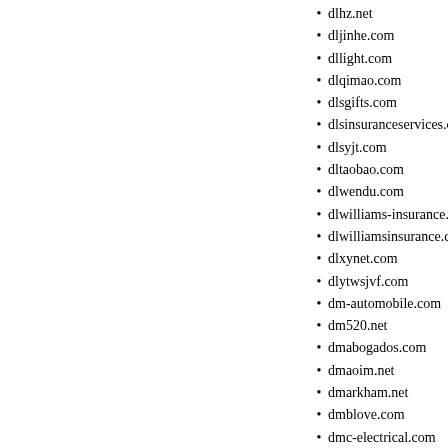dlhz.net
dljinhe.com
dllight.com
dlqimao.com
dlsgifts.com
dlsinsuranceservices.com
dlsyjt.com
dltaobao.com
dlwendu.com
dlwilliams-insurance.com
dlwilliamsinsurance.com
dlxynet.com
dlytwsjvf.com
dm-automobile.com
dm520.net
dmabogados.com
dmaoim.net
dmarkham.net
dmblove.com
dmc-electrical.com
dmc9rttc07q6.com
dmcarwash.com
dmclumixpanasonictz1.com
dmgysy.com
dmi-int.com
dmifacilities.net
dmtennis.com
dmzmeirongwh.com